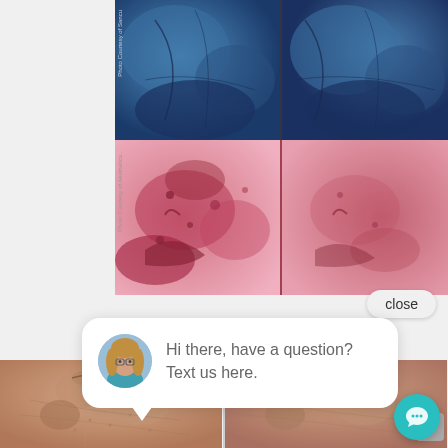[Figure (photo): Before/after skin treatment photos: top row shows blue-tinted UV/fluorescent imaging of facial skin (two side-by-side panels); middle row shows two pink/red-tinted images of facial skin showing redness and pigmentation]
close
[Figure (screenshot): Chat widget popup with avatar of a woman with glasses and curly hair; message reads: Hi there, have a question? Text us here.]
Hi there, have a question? Text us here.
[Figure (photo): Bottom row: before/after photos of lower face showing skin texture improvement, two side-by-side panels of facial cheek area]
[Figure (other): Teal circular chat/messaging button icon in bottom right corner]